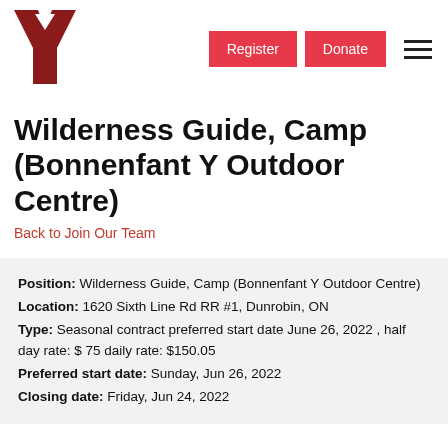[Figure (logo): YMCA Y logo in dark red/maroon]
[Figure (screenshot): Register and Donate buttons in red, and hamburger menu icon]
Wilderness Guide, Camp (Bonnenfant Y Outdoor Centre)
Back to Join Our Team
Position: Wilderness Guide, Camp (Bonnenfant Y Outdoor Centre)
Location: 1620 Sixth Line Rd RR #1, Dunrobin, ON
Type: Seasonal contract preferred start date June 26, 2022 , half day rate: $ 75 daily rate: $150.05
Preferred start date: Sunday, Jun 26, 2022
Closing date: Friday, Jun 24, 2022